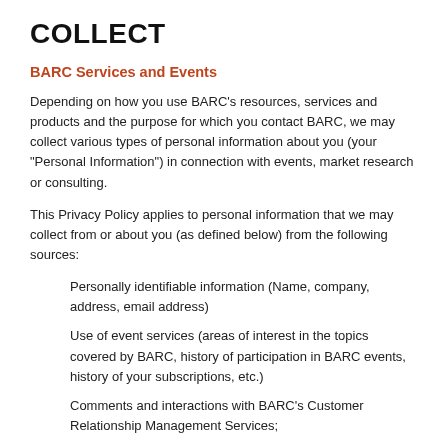COLLECT
BARC Services and Events
Depending on how you use BARC’s resources, services and products and the purpose for which you contact BARC, we may collect various types of personal information about you (your “Personal Information”) in connection with events, market research or consulting.
This Privacy Policy applies to personal information that we may collect from or about you (as defined below) from the following sources:
Personally identifiable information (Name, company, address, email address)
Use of event services (areas of interest in the topics covered by BARC, history of participation in BARC events, history of your subscriptions, etc.)
Comments and interactions with BARC’s Customer Relationship Management Services;
Payment information (if you use BARC services or paid